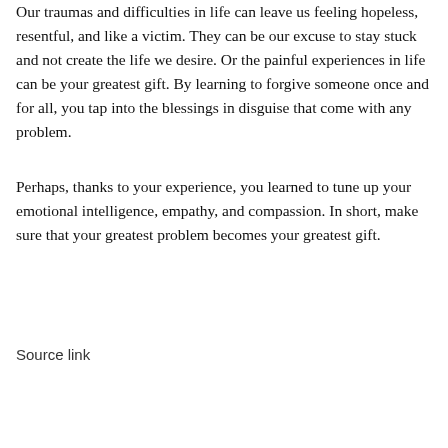Our traumas and difficulties in life can leave us feeling hopeless, resentful, and like a victim. They can be our excuse to stay stuck and not create the life we desire. Or the painful experiences in life can be your greatest gift. By learning to forgive someone once and for all, you tap into the blessings in disguise that come with any problem.
Perhaps, thanks to your experience, you learned to tune up your emotional intelligence, empathy, and compassion. In short, make sure that your greatest problem becomes your greatest gift.
Source link
[Figure (other): A horizontal dark blue divider line centered on the page, followed by a row of six social media sharing icon circles (WhatsApp, Facebook, Twitter, Email, Pinterest, LinkedIn) rendered in light gray outlines.]